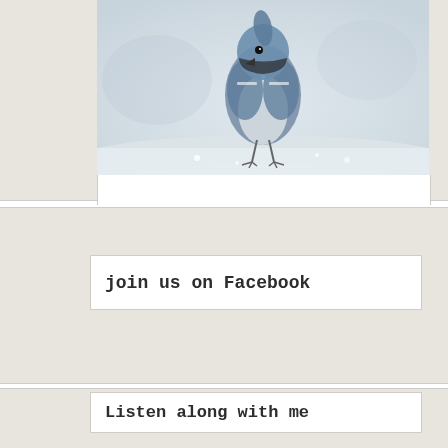[Figure (photo): Close-up photo of a blue jay bird on snow, with blurred winter background. Only the top/bottom portion of the bird is visible.]
join us on Facebook
Listen along with me
“09 Belle Starr”
[Figure (screenshot): Audio player control bar, partially visible at the bottom of the page, with play button and time displays.]